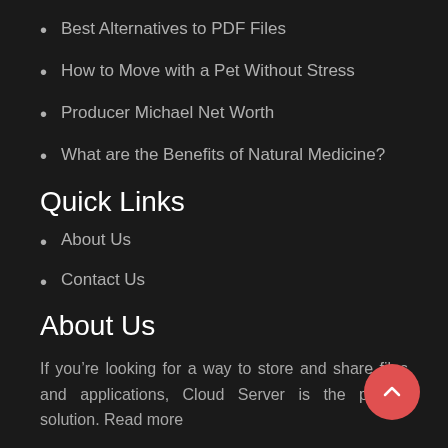Best Alternatives to PDF Files
How to Move with a Pet Without Stress
Producer Michael Net Worth
What are the Benefits of Natural Medicine?
Quick Links
About Us
Contact Us
About Us
If you’re looking for a way to store and share files and applications, Cloud Server is the perfect solution. Read more